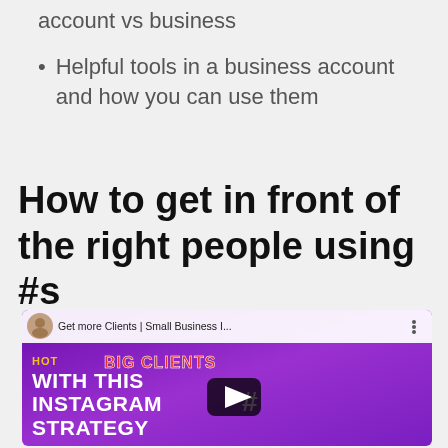account vs business
Helpful tools in a business account and how you can use them
How to get in front of the right people using #s
[Figure (screenshot): YouTube video thumbnail showing 'Get more Clients | Small Business I...' with a man posing against a purple background. White bold text reads 'WITH THIS INSTAGRAM STRATEGY' and red outlined text reads 'BIG CLIENTS'. A play button is visible in the center.]